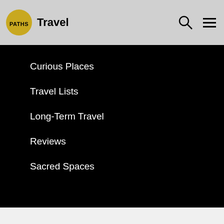Travel
Curious Places
Travel Lists
Long-Term Travel
Reviews
Sacred Spaces